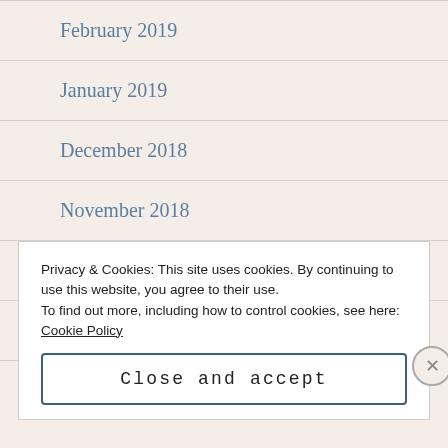February 2019
January 2019
December 2018
November 2018
October 2018
September 2018
August 2018
Privacy & Cookies: This site uses cookies. By continuing to use this website, you agree to their use.
To find out more, including how to control cookies, see here: Cookie Policy
Close and accept